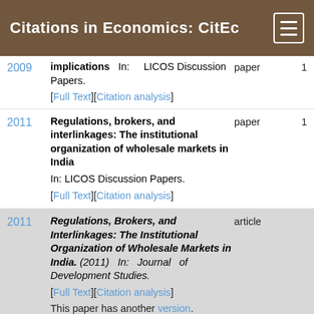Citations in Economics: CitEc
2009 | implications In: LICOS Discussion Papers. [Full Text][Citation analysis] | paper | 1
2011 | Regulations, brokers, and interlinkages: The institutional organization of wholesale markets in India In: LICOS Discussion Papers. [Full Text][Citation analysis] | paper | 1
2011 | Regulations, Brokers, and Interlinkages: The Institutional Organization of Wholesale Markets in India. (2011) In: Journal of Development Studies. [Full Text][Citation analysis] This paper has another version. Agregated cites: 1 | article